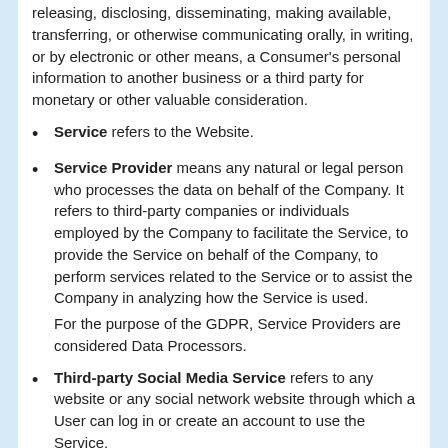releasing, disclosing, disseminating, making available, transferring, or otherwise communicating orally, in writing, or by electronic or other means, a Consumer's personal information to another business or a third party for monetary or other valuable consideration.
Service refers to the Website.
Service Provider means any natural or legal person who processes the data on behalf of the Company. It refers to third-party companies or individuals employed by the Company to facilitate the Service, to provide the Service on behalf of the Company, to perform services related to the Service or to assist the Company in analyzing how the Service is used.

For the purpose of the GDPR, Service Providers are considered Data Processors.
Third-party Social Media Service refers to any website or any social network website through which a User can log in or create an account to use the Service.
Usage Data refers to data collected automatically, either generated by the use of the Service or from the Service infrastructure itself (for example, the duration of a page visit).